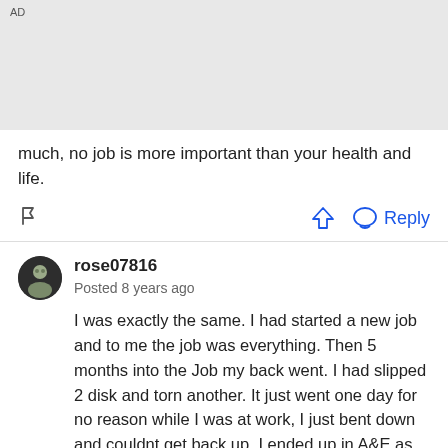[Figure (other): AD banner placeholder area with gray background]
much, no job is more important than your health and life.
Reply
rose07816
Posted 8 years ago
I was exactly the same. I had started a new job and to me the job was everything. Then 5 months into the Job my back went. I had slipped 2 disk and torn another. It just went one day for no reason while I was at work, I just bent down and couldnt get back up. I ended up in A&E as the pain was unbearable. To cut a long story short I was off work and constantly